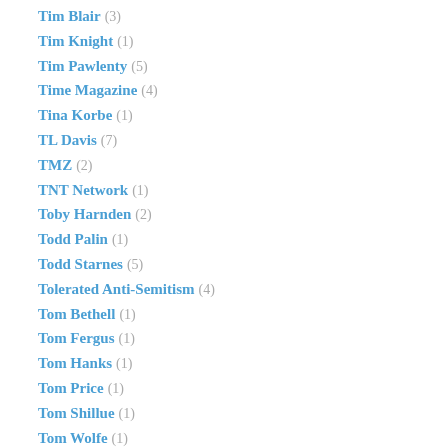Tim Blair (3)
Tim Knight (1)
Tim Pawlenty (5)
Time Magazine (4)
Tina Korbe (1)
TL Davis (7)
TMZ (2)
TNT Network (1)
Toby Harnden (2)
Todd Palin (1)
Todd Starnes (5)
Tolerated Anti-Semitism (4)
Tom Bethell (1)
Tom Fergus (1)
Tom Hanks (1)
Tom Price (1)
Tom Shillue (1)
Tom Wolfe (1)
Tommy Dorsey (1)
Townhall.com (6)